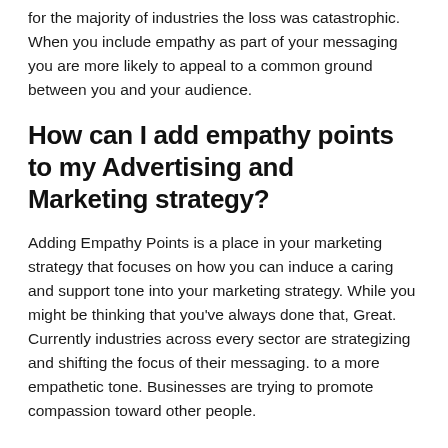for the majority of industries the loss was catastrophic. When you include empathy as part of your messaging you are more likely to appeal to a common ground between you and your audience.
How can I add empathy points to my Advertising and Marketing strategy?
Adding Empathy Points is a place in your marketing strategy that focuses on how you can induce a caring and support tone into your marketing strategy. While you might be thinking that you've always done that, Great. Currently industries across every sector are strategizing and shifting the focus of their messaging. to a more empathetic tone. Businesses are trying to promote compassion toward other people.